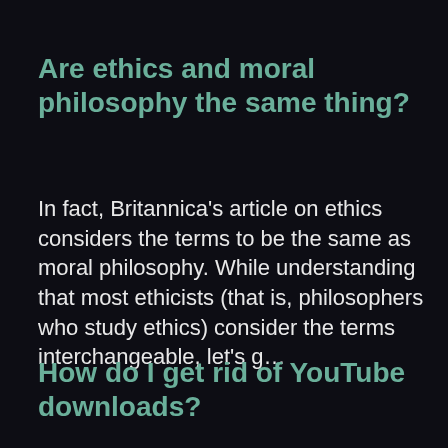Are ethics and moral philosophy the same thing?
In fact, Britannica’s article on ethics considers the terms to be the same as moral philosophy. While understanding that most ethicists (that is, philosophers who study ethics) consider the terms interchangeable, let’s g&hellip;
How do I get rid of YouTube downloads?